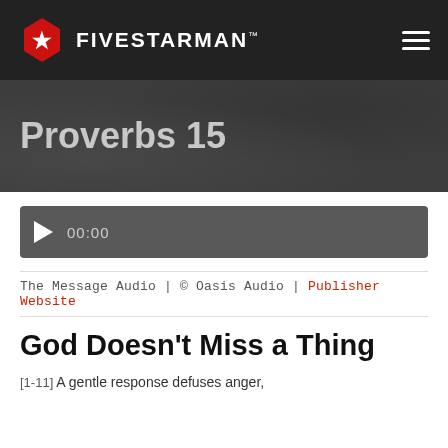FIVESTARMAN
Proverbs 15
[Figure (other): Audio player with play button and time display showing 00:00]
The Message Audio | © Oasis Audio | Publisher Website
God Doesn't Miss a Thing
[1-11] A gentle response defuses anger,